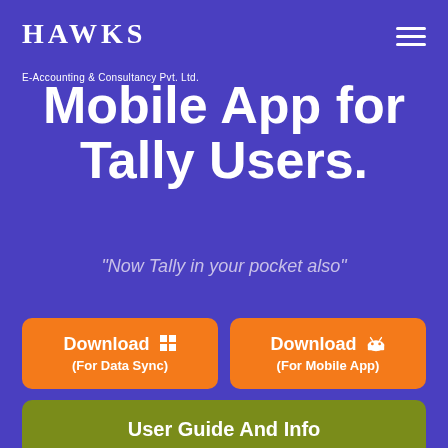HAWKS
E-Accounting & Consultancy Pvt. Ltd.
Mobile App for Tally Users.
"Now Tally in your pocket also"
Download (For Data Sync)
Download (For Mobile App)
User Guide And Info